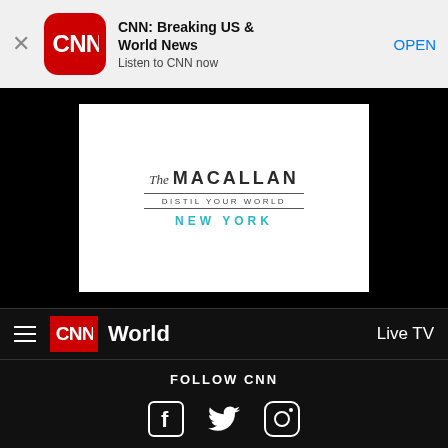[Figure (screenshot): CNN app banner advertisement with close button, CNN red app icon, title 'CNN: Breaking US & World News', subtitle 'Listen to CNN now', and OPEN button]
[Figure (logo): The Macallan Distil Your World New York advertisement logo on white background within black section]
[Figure (screenshot): CNN website navigation bar with hamburger menu, CNN red logo, World label, and Live TV link]
FOLLOW CNN
[Figure (infographic): Social media icons: Facebook, Twitter, Instagram on dark background]